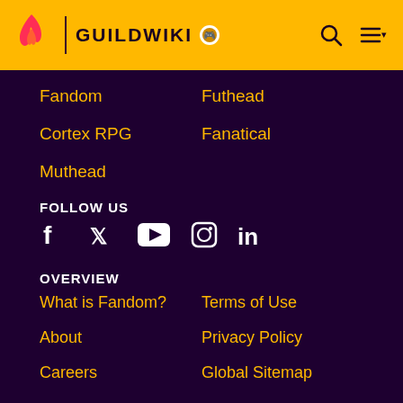GUILDWIKI
Fandom
Futhead
Cortex RPG
Fanatical
Muthead
FOLLOW US
[Figure (infographic): Social media icons: Facebook, Twitter, YouTube, Instagram, LinkedIn]
OVERVIEW
What is Fandom?
Terms of Use
About
Privacy Policy
Careers
Global Sitemap